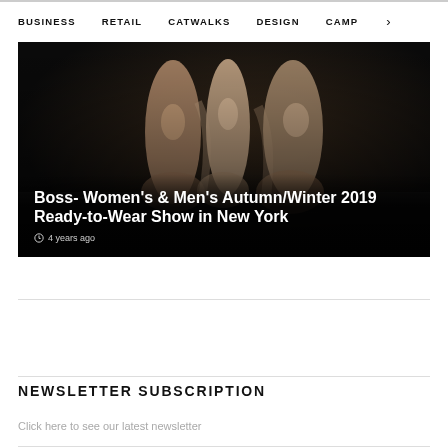BUSINESS   RETAIL   CATWALKS   DESIGN   CAMP >
[Figure (photo): Fashion runway photo showing models in beige/taupe flowing garments on a dark catwalk, with overlay text about Boss Women's & Men's Autumn/Winter 2019 Ready-to-Wear Show in New York]
Boss- Women's & Men's Autumn/Winter 2019 Ready-to-Wear Show in New York
4 years ago
NEWSLETTER SUBSCRIPTION
Click here to see our latest newsletter